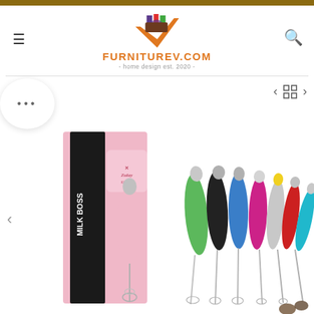FURNITUREV.COM - home design est. 2020 -
[Figure (photo): Product photo showing Zulay Kitchen Milk Boss milk frother in multiple colors (pink, green, black, blue, pink/magenta, silver, red, cyan) arranged in a fan display, alongside a pink product box labeled MILK BOSS.]